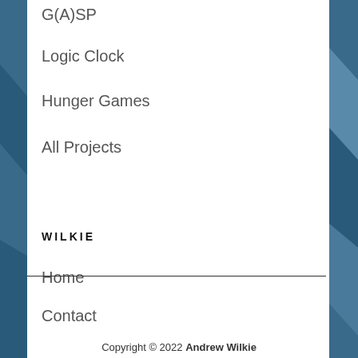G(A)SP
Logic Clock
Hunger Games
All Projects
WILKIE
Home
Contact
About
Copyright © 2022 Andrew Wilkie